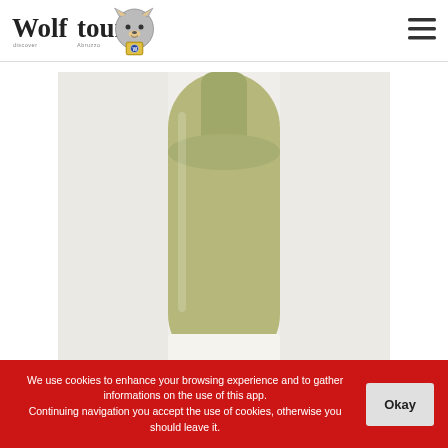Wolftour discover Abruzzo
[Figure (photo): Close-up of a white wine bottle (Trebbiano Bardasce) showing the neck and body with olive-green glass against a light background]
Vino Trebbiano: BARDASCE – Tenuta De...
We use cookies to enhance your browsing experience and to gather informations on the use of this app. Continuing navigation you accept the use of cookies, otherwise you should leave it.